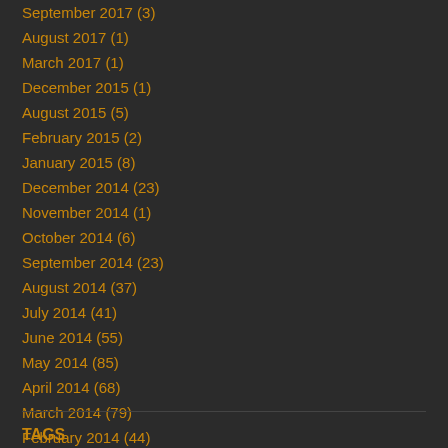September 2017 (3)
August 2017 (1)
March 2017 (1)
December 2015 (1)
August 2015 (5)
February 2015 (2)
January 2015 (8)
December 2014 (23)
November 2014 (1)
October 2014 (6)
September 2014 (23)
August 2014 (37)
July 2014 (41)
June 2014 (55)
May 2014 (85)
April 2014 (68)
March 2014 (79)
February 2014 (44)
January 2014 (10)
TAGS